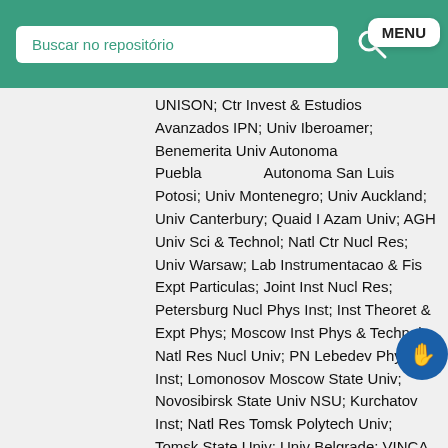Buscar no repositório
UNISON; Ctr Invest & Estudios Avanzados IPN; Univ Iberoamer; Benemerita Univ Autonoma Puebla Autonoma San Luis Potosi; Univ Montenegro; Univ Auckland; Univ Canterbury; Quaid I Azam Univ; AGH Univ Sci & Technol; Natl Ctr Nucl Res; Univ Warsaw; Lab Instrumentacao & Fis Expt Particulas; Joint Inst Nucl Res; Petersburg Nucl Phys Inst; Inst Theoret & Expt Phys; Moscow Inst Phys & Technol; Natl Res Nucl Univ; PN Lebedev Phys Inst; Lomonosov Moscow State Univ; Novosibirsk State Univ NSU; Kurchatov Inst; Natl Res Tomsk Polytech Univ; Tomsk State Univ; Univ Belgrade; VINCA Inst Nucl Sci; Ctr Invest Energet Medioambientales & Tecnol CIEM; Univ Autonoma Madrid; Univ Oviedo; Univ Cantabria; Univ Colombo; Univ Ruhuna; European Org Nucl Res; Paul Scherrer Inst; Swiss Fed Inst Technol; Univ Zurich; Natl Cent Univ; Natl Taiwan Univ NTU; Chulalongkorn Univ; Cukurova Univ; Middle East Tech Univ; Bogazici Univ; Istanbul Tech Univ; Istanbul Univ; Natl Acad Sci Ukraine; Kharkov Inst Phys & Technol; Univ